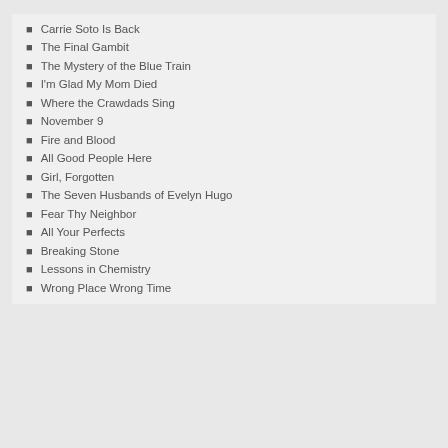Carrie Soto Is Back
The Final Gambit
The Mystery of the Blue Train
I'm Glad My Mom Died
Where the Crawdads Sing
November 9
Fire and Blood
All Good People Here
Girl, Forgotten
The Seven Husbands of Evelyn Hugo
Fear Thy Neighbor
All Your Perfects
Breaking Stone
Lessons in Chemistry
Wrong Place Wrong Time